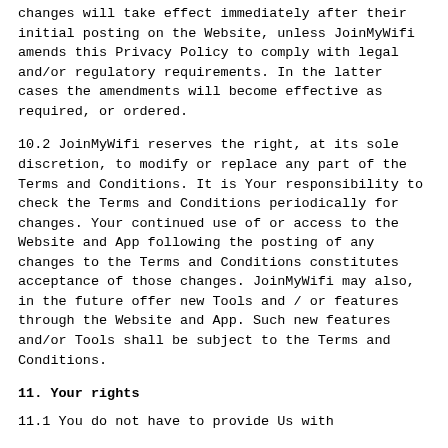changes will take effect immediately after their initial posting on the Website, unless JoinMyWifi amends this Privacy Policy to comply with legal and/or regulatory requirements. In the latter cases the amendments will become effective as required, or ordered.
10.2 JoinMyWifi reserves the right, at its sole discretion, to modify or replace any part of the Terms and Conditions. It is Your responsibility to check the Terms and Conditions periodically for changes. Your continued use of or access to the Website and App following the posting of any changes to the Terms and Conditions constitutes acceptance of those changes. JoinMyWifi may also, in the future offer new Tools and / or features through the Website and App. Such new features and/or Tools shall be subject to the Terms and Conditions.
11. Your rights
11.1 You do not have to provide Us with